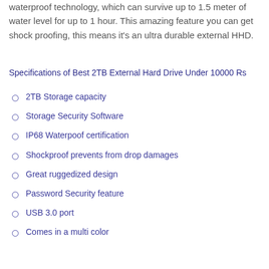The best external drive comes with IP 68 grade level of waterproof technology, which can survive up to 1.5 meter of water level for up to 1 hour. This amazing feature you can get shock proofing, this means it's an ultra durable external HHD.
Specifications of Best 2TB External Hard Drive Under 10000 Rs
2TB Storage capacity
Storage Security Software
IP68 Waterpoof certification
Shockproof prevents from drop damages
Great ruggedized design
Password Security feature
USB 3.0 port
Comes in a multi color